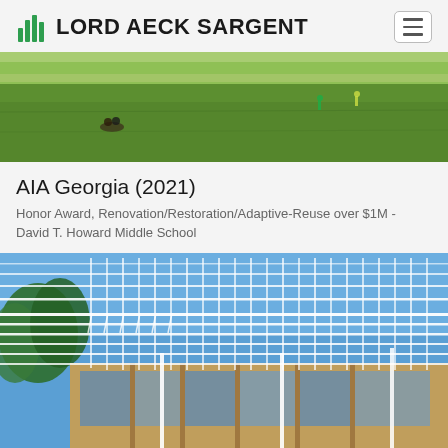LORD AECK SARGENT
[Figure (photo): Aerial/ground view of a large grass field with people relaxing and walking]
AIA Georgia (2021)
Honor Award, Renovation/Restoration/Adaptive-Reuse over $1M - David T. Howard Middle School
[Figure (photo): Exterior architectural photo of a modern building with a large white metal lattice/louvered canopy structure over a wood and glass facade, photographed from below against a blue sky]